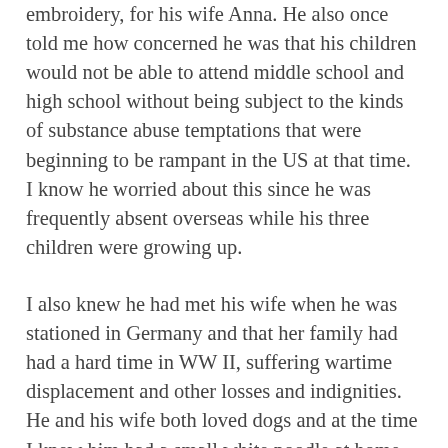embroidery, for his wife Anna. He also once told me how concerned he was that his children would not be able to attend middle school and high school without being subject to the kinds of substance abuse temptations that were beginning to be rampant in the US at that time. I know he worried about this since he was frequently absent overseas while his three children were growing up.
I also knew he had met his wife when he was stationed in Germany and that her family had had a hard time in WW II, suffering wartime displacement and other losses and indignities. He and his wife both loved dogs and at the time I knew him had a small white poodle at home that Top insisted had a genius-level understanding of the English language. And while he liked our unit mascot Foxy, he devoted